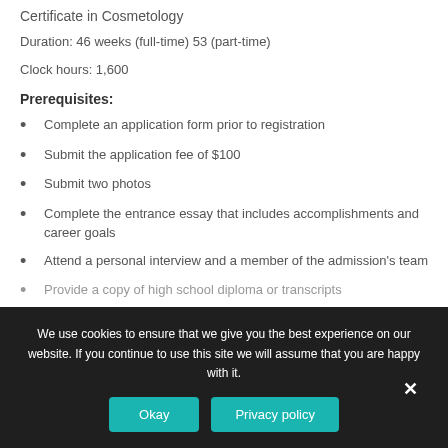Certificate in Cosmetology
Duration: 46 weeks (full-time) 53 (part-time)
Clock hours: 1,600
Prerequisites:
Complete an application form prior to registration
Submit the application fee of $100
Submit two photos
Complete the entrance essay that includes accomplishments and career goals
Attend a personal interview and a member of the admission's team
Provide a copy of high school diploma or transcripts
We use cookies to ensure that we give you the best experience on our website. If you continue to use this site we will assume that you are happy with it.